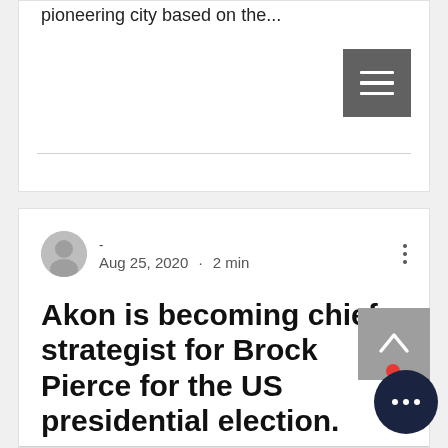pioneering city based on the...
[Figure (screenshot): Grey menu/hamburger button with three horizontal white lines on dark grey background]
- Aug 25, 2020 · 2 min
Akon is becoming chief strategist for Brock Pierce for the US presidential election.
Crypto enthusiasts Brock Pierce and Akon are going to unite forces for the 2020 US...